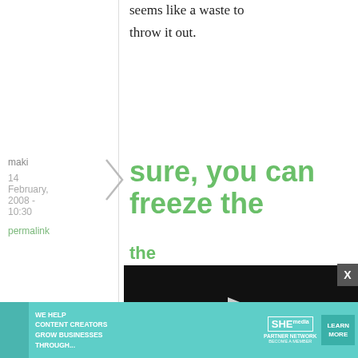seems like a waste to throw it out.
maki
14 February, 2008 - 10:30
permalink
sure, you can freeze the
[Figure (screenshot): Embedded video player with play button, progress bar at 13:52, and media controls including mute, CC, grid, settings, and fullscreen buttons]
and break off as much as you need